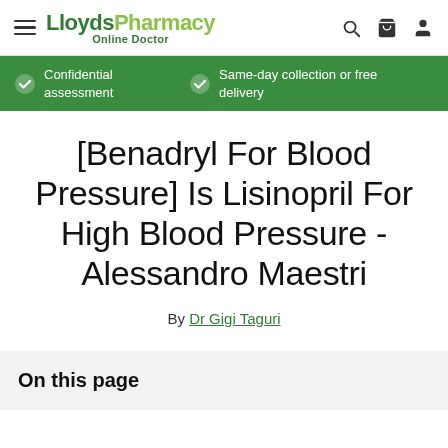LloydsPharmacy Online Doctor — Confidential assessment | Same-day collection or free delivery
[Benadryl For Blood Pressure] Is Lisinopril For High Blood Pressure - Alessandro Maestri
By Dr Gigi Taguri
On this page